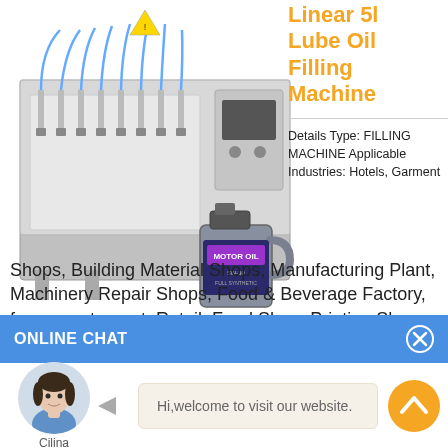[Figure (photo): Industrial linear 5L lube oil filling machine — stainless steel multi-head automatic filler]
[Figure (photo): Oil bottle / lubricant container (5L dark blue jug with label)]
Linear 5l Lube Oil Filling Machine
Details Type: FILLING MACHINE Applicable Industries: Hotels, Garment Shops, Building Material Shops, Manufacturing Plant, Machinery Repair Shops, Food & Beverage Factory, farms, restaurant, Retail, Food Shop, Printing Shops, Construction
ONLINE CHAT
[Figure (photo): Chat agent avatar — female representative named Cilina]
Hi,welcome to visit our website.
Cilina